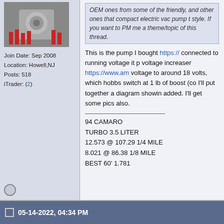[Figure (photo): Engine bay photo showing a chrome/silver engine with red wiring]
Join Date: Sep 2008
Location: Howell,NJ
Posts: 518
iTrader: (2)
OEM ones from some of the friendly, and other ones that compact electric vac pump t style. If you want to PM me a theme/topic of this thread.
This is the pump I bought https://... connected to running voltage it p voltage increaser https://www.am voltage to around 18 volts, which hobbs switch at 1 lb of boost (co I'll put together a diagram showin added. I'll get some pics also.
94 CAMARO
TURBO 3.5 LITER
12.573 @ 107.29 1/4 MILE
8.021 @ 86.38 1/8 MILE
BEST 60' 1.781
05-14-2022, 04:34 PM
3.4 grape of wrath
[Figure (photo): Under-hood photo, dark engine bay]
Some pics of where I mounted th under boost, at idle and cruise fu box next to the air pump.
Attached Thumbnails